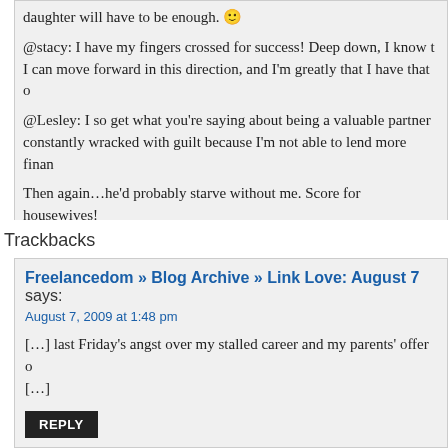daughter will have to be enough. 🙂
@stacy: I have my fingers crossed for success! Deep down, I know t... I can move forward in this direction, and I'm greatly that I have that o...
@Lesley: I so get what you're saying about being a valuable partner... constantly wracked with guilt because I'm not able to lend more finan...
Then again…he'd probably starve without me. Score for housewives!
REPLY
Trackbacks
Freelancedom » Blog Archive » Link Love: August 7 says:
August 7, 2009 at 1:48 pm
[…] last Friday's angst over my stalled career and my parents' offer o... [...]
REPLY